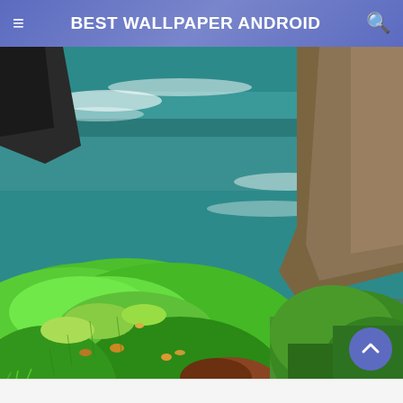BEST WALLPAPER ANDROID
[Figure (photo): Aerial coastal landscape showing vivid green moss-covered cliffs in the foreground with dark teal ocean waves crashing against rocks, HDR-style photography. The Cliffs of Moher style scenery with lush green rolling grass hills and blue-green Atlantic water below.]